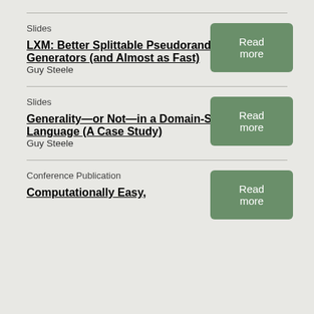Slides
LXM: Better Splittable Pseudorandom Number Generators (and Almost as Fast)
Guy Steele
Slides
Generality—or Not—in a Domain-Specific Language (A Case Study)
Guy Steele
Conference Publication
Computationally Easy,